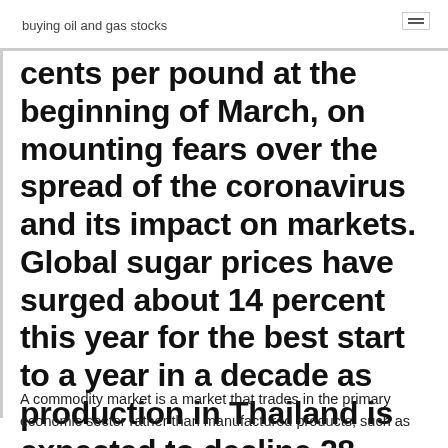buying oil and gas stocks
cents per pound at the beginning of March, on mounting fears over the spread of the coronavirus and its impact on markets. Global sugar prices have surged about 14 percent this year for the best start to a year in a decade as production in Thailand is expected to decline 28 percent to a nine-year low of 10.5
A commodity market is a market that trades in the primary economic sector rather than manufactured products, such as